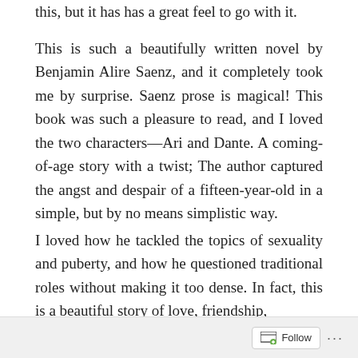this, but it has has a great feel to go with it.
This is such a beautifully written novel by Benjamin Alire Saenz, and it completely took me by surprise. Saenz prose is magical! This book was such a pleasure to read, and I loved the two characters—Ari and Dante. A coming-of-age story with a twist; The author captured the angst and despair of a fifteen-year-old in a simple, but by no means simplistic way.
I loved how he tackled the topics of sexuality and puberty, and how he questioned traditional roles without making it too dense. In fact, this is a beautiful story of love, friendship,
Follow ···